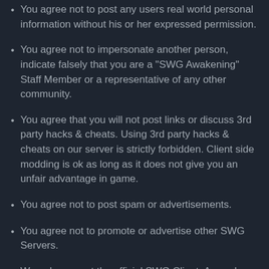You agree not to post any users real world personal information without his or her expressed permission.
You agree not to impersonate another person, indicate falsely that you are a “SWG Awakening” Staff Member or a representative of any other community.
You agree that you will not post links or discuss 3rd party hacks & cheats. Using 3rd party hacks & cheats on our server is strictly forbidden. Client side modding is ok as long as it does not give you an unfair advantage in game.
You agree not to post spam or advertisements.
You agree not to promote or advertise other SWG Servers.
We only support the official SWG Client. As such, you agree that you will not discuss or post links to illegal client downloads.
You agree that “SWG Awakening” has the right to...